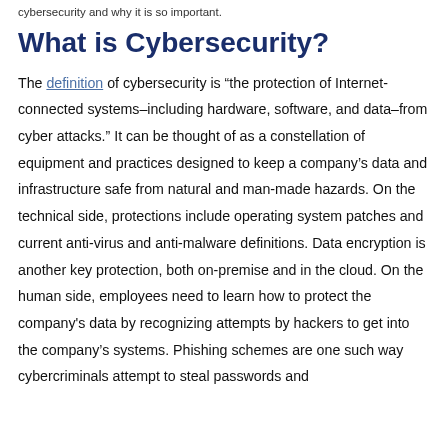cybersecurity and why it is so important.
What is Cybersecurity?
The definition of cybersecurity is “the protection of Internet-connected systems–including hardware, software, and data–from cyber attacks.” It can be thought of as a constellation of equipment and practices designed to keep a company’s data and infrastructure safe from natural and man-made hazards. On the technical side, protections include operating system patches and current anti-virus and anti-malware definitions. Data encryption is another key protection, both on-premise and in the cloud. On the human side, employees need to learn how to protect the company’s data by recognizing attempts by hackers to get into the company’s systems. Phishing schemes are one such way cybercriminals attempt to steal passwords and